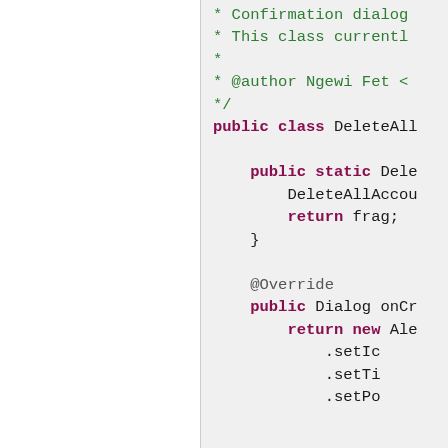[Figure (screenshot): Java source code editor screenshot showing a partial class definition for DeleteAllAccount fragment with Javadoc comment, public static factory method, @Override annotation, and onCreateDialog method with builder pattern calls.]